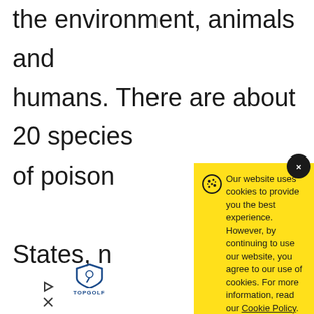the environment, animals and humans. There are about 20 species of poison… States, r… cottonm… rarely fo… subspec…
[Figure (screenshot): Cookie consent modal dialog with yellow background. Contains cookie icon, text about website cookie policy, a link to Cookie Policy, and an Accept button. There is a dark close (x) button in the top-right corner of the modal.]
[Figure (logo): Topgolf logo with shield/golf icon and TOPGOLF text below]